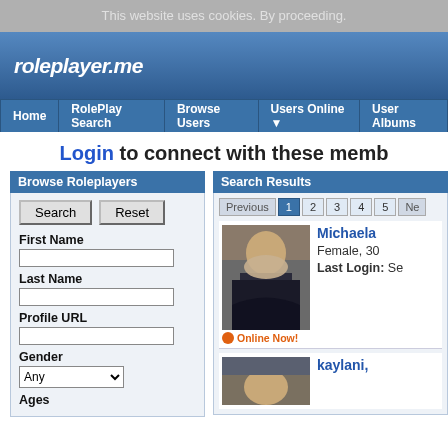This website uses cookies. By proceeding.
[Figure (screenshot): roleplayer.me site header logo on blue gradient background]
Home | RolePlay Search | Browse Users | Users Online ▼ | User Albums
Login to connect with these memb
Browse Roleplayers
Search Reset
First Name
Last Name
Profile URL
Gender Any
Ages
Search Results
Previous 1 2 3 4 5 Ne
[Figure (photo): Profile photo of Michaela - a woman with blonde hair in dark jacket]
Online Now!
Michaela
Female, 30
Last Login: Se
[Figure (photo): Profile photo of kaylani - partially visible at bottom]
kaylani,